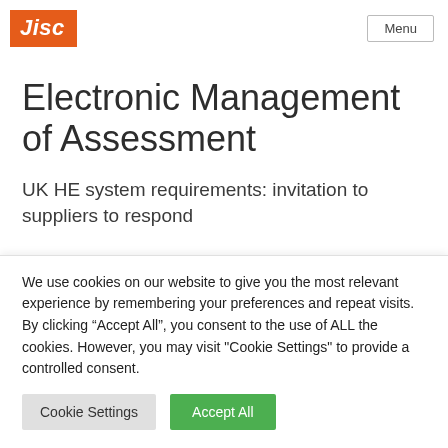Jisc | Menu
Electronic Management of Assessment
UK HE system requirements: invitation to suppliers to respond
We use cookies on our website to give you the most relevant experience by remembering your preferences and repeat visits. By clicking “Accept All”, you consent to the use of ALL the cookies. However, you may visit "Cookie Settings" to provide a controlled consent.